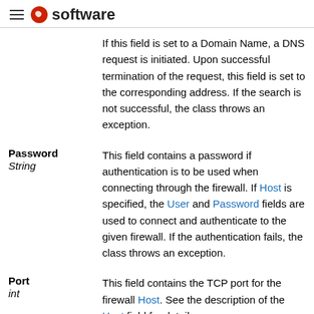software
If this field is set to a Domain Name, a DNS request is initiated. Upon successful termination of the request, this field is set to the corresponding address. If the search is not successful, the class throws an exception.
Password String — This field contains a password if authentication is to be used when connecting through the firewall. If Host is specified, the User and Password fields are used to connect and authenticate to the given firewall. If the authentication fails, the class throws an exception.
Port int — This field contains the TCP port for the firewall Host. See the description of the Host field for details.